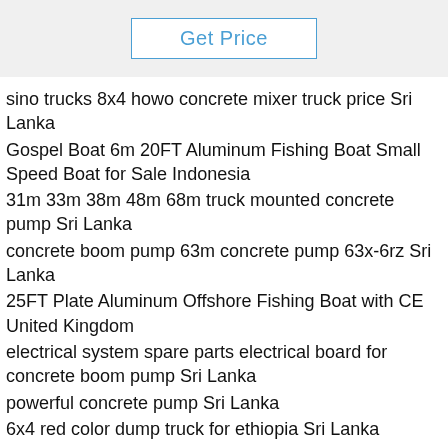Get Price
sino trucks 8x4 howo concrete mixer truck price Sri Lanka
Gospel Boat 6m 20FT Aluminum Fishing Boat Small Speed Boat for Sale Indonesia
31m 33m 38m 48m 68m truck mounted concrete pump Sri Lanka
concrete boom pump 63m concrete pump 63x-6rz Sri Lanka
25FT Plate Aluminum Offshore Fishing Boat with CE United Kingdom
electrical system spare parts electrical board for concrete boom pump Sri Lanka
powerful concrete pump Sri Lanka
6x4 red color dump truck for ethiopia Sri Lanka
good selling diesel concrete mixer and pump Sri Lanka
high efficiency 4x2 sewer working sewage fecal suction truck Sri Lanka